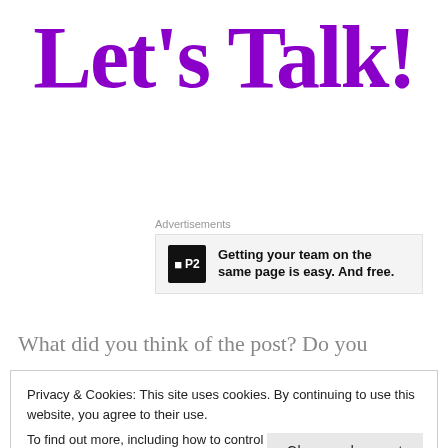Let's Talk!
Advertisements
[Figure (other): Advertisement banner: P2 logo with text 'Getting your team on the same page is easy. And free.']
What did you think of the post? Do you
Privacy & Cookies: This site uses cookies. By continuing to use this website, you agree to their use.
To find out more, including how to control cookies, see here: Cookie Policy
Close and accept